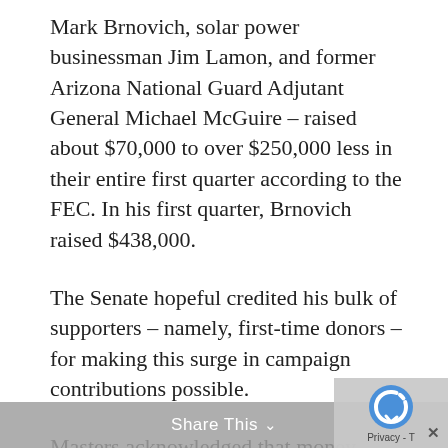Mark Brnovich, solar power businessman Jim Lamon, and former Arizona National Guard Adjutant General Michael McGuire – raised about $70,000 to over $250,000 less in their entire first quarter according to the FEC. In his first quarter, Brnovich raised $438,000.
The Senate hopeful credited his bulk of supporters – namely, first-time donors – for making this surge in campaign contributions possible.
Masters acknowledged that money shouldn't be everything, but asserted that incumbent Senator Mark Kelly (D-AZ) would raise hundreds of millions to win this race. He noted